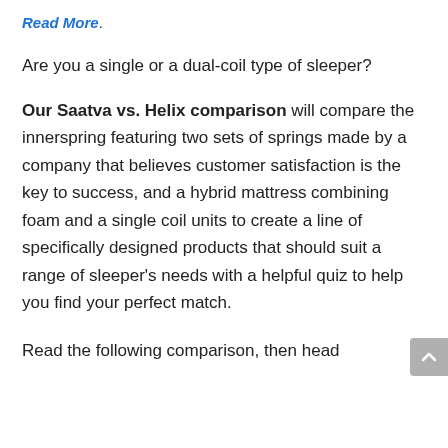Read More.
Are you a single or a dual-coil type of sleeper?
Our Saatva vs. Helix comparison will compare the innerspring featuring two sets of springs made by a company that believes customer satisfaction is the key to success, and a hybrid mattress combining foam and a single coil units to create a line of specifically designed products that should suit a range of sleeper's needs with a helpful quiz to help you find your perfect match.
Read the following comparison, then head